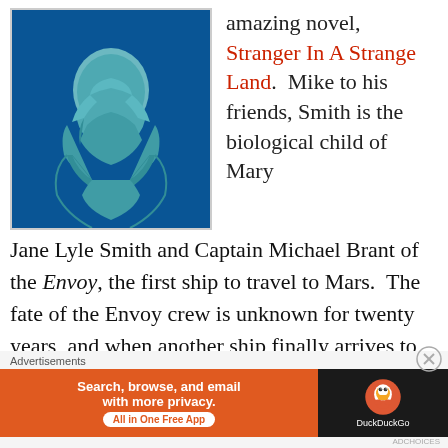[Figure (photo): Blue-tinted figure with arms crossed, from cover of Stranger in a Strange Land]
amazing novel, Stranger In A Strange Land.  Mike to his friends, Smith is the biological child of Mary Jane Lyle Smith and Captain Michael Brant of the Envoy, the first ship to travel to Mars.  The fate of the Envoy crew is unknown for twenty years, and when another ship finally arrives to investigate, they find that Mike is the Envoy's only survivor.  Since Mike was raised by Martians, he went the first twenty years of his life never seeing any other human, and he spoke
Advertisements
[Figure (infographic): DuckDuckGo advertisement banner: Search, browse, and email with more privacy. All in One Free App.]